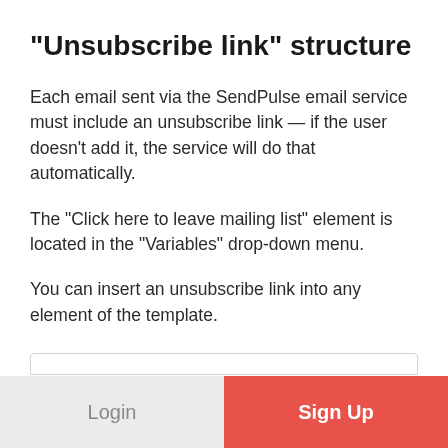"Unsubscribe link" structure
Each email sent via the SendPulse email service must include an unsubscribe link — if the user doesn't add it, the service will do that automatically.
The "Click here to leave mailing list" element is located in the "Variables" drop-down menu.
You can insert an unsubscribe link into any element of the template.